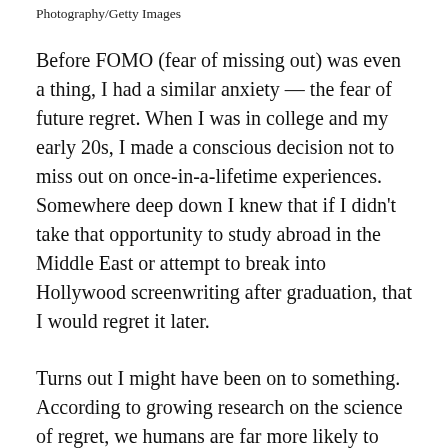Photography/Getty Images
Before FOMO (fear of missing out) was even a thing, I had a similar anxiety — the fear of future regret. When I was in college and my early 20s, I made a conscious decision not to miss out on once-in-a-lifetime experiences. Somewhere deep down I knew that if I didn't take that opportunity to study abroad in the Middle East or attempt to break into Hollywood screenwriting after graduation, that I would regret it later.
Turns out I might have been on to something. According to growing research on the science of regret, we humans are far more likely to experience gnawing feelings of regret for things that we didn't do (inaction) than mistakes that we made along the way (actions). And those regrets cut much deeper and last much longer when those inactions are perceived as failures to live up to an idealized version of